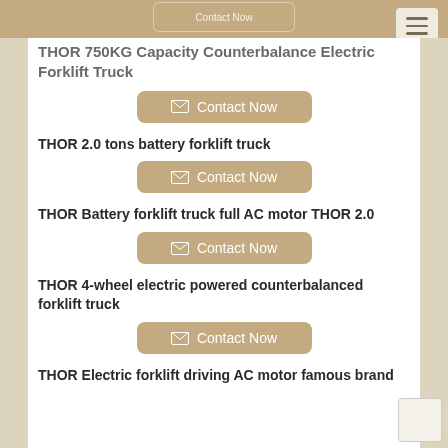THOR 750KG Capacity Counterbalance Electric Forklift Truck
Contact Now
THOR 2.0 tons battery forklift truck
Contact Now
THOR Battery forklift truck full AC motor THOR 2.0
Contact Now
THOR 4-wheel electric powered counterbalanced forklift truck
Contact Now
THOR Electric forklift driving AC motor famous brand